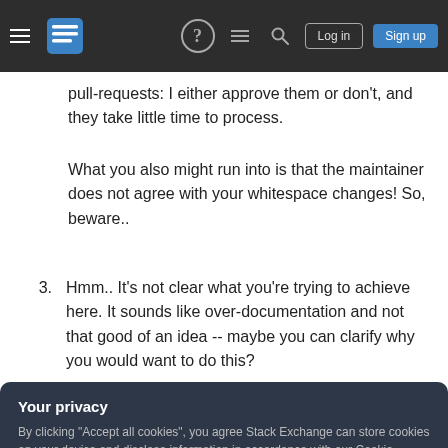Stack Exchange navigation bar with hamburger menu, logo, help icon, chat icon, search icon, Log in button, Sign up button
pull-requests: I either approve them or don't, and they take little time to process.
What you also might run into is that the maintainer does not agree with your whitespace changes! So, beware..
3. Hmm.. It's not clear what you're trying to achieve here. It sounds like over-documentation and not that good of an idea -- maybe you can clarify why you would want to do this?
Your privacy
By clicking "Accept all cookies", you agree Stack Exchange can store cookies on your device and disclose information in accordance with our Cookie Policy.
Accept all cookies   Customize settings
which license he's using for his code. If the